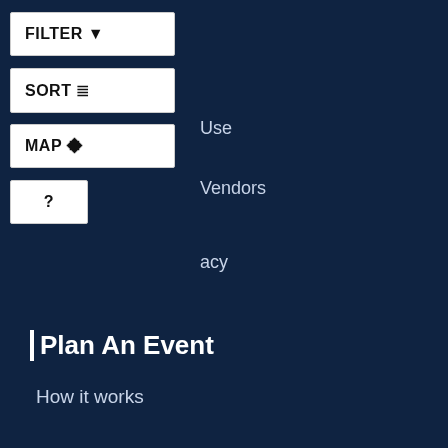[Figure (screenshot): UI toolbar with FILTER, SORT, MAP, and ? buttons rendered as white pill/rectangle buttons on dark navy background]
Use
Vendors
acy
Plan An Event
How it works
Party Planning 101
Plan an event now
Create a Wedding Website
Market My Business
How it works
Why Eventective
Eventective blog
Pricing